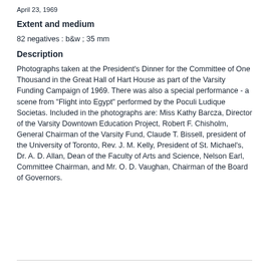April 23, 1969
Extent and medium
82 negatives : b&w ; 35 mm
Description
Photographs taken at the President's Dinner for the Committee of One Thousand in the Great Hall of Hart House as part of the Varsity Funding Campaign of 1969. There was also a special performance - a scene from "Flight into Egypt" performed by the Poculi Ludique Societas. Included in the photographs are: Miss Kathy Barcza, Director of the Varsity Downtown Education Project, Robert F. Chisholm, General Chairman of the Varsity Fund, Claude T. Bissell, president of the University of Toronto, Rev. J. M. Kelly, President of St. Michael's, Dr. A. D. Allan, Dean of the Faculty of Arts and Science, Nelson Earl, Committee Chairman, and Mr. O. D. Vaughan, Chairman of the Board of Governors.